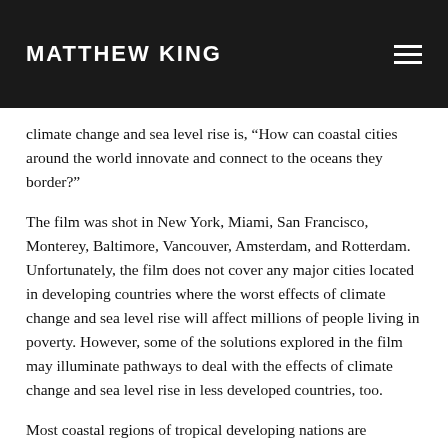MATTHEW KING
climate change and sea level rise is, “How can coastal cities around the world innovate and connect to the oceans they border?”
The film was shot in New York, Miami, San Francisco, Monterey, Baltimore, Vancouver, Amsterdam, and Rotterdam. Unfortunately, the film does not cover any major cities located in developing countries where the worst effects of climate change and sea level rise will affect millions of people living in poverty. However, some of the solutions explored in the film may illuminate pathways to deal with the effects of climate change and sea level rise in less developed countries, too.
Most coastal regions of tropical developing nations are characterized by high and growing population density, increasing human pressures on natural resources and ecosystems, resource use conflicts, and growing